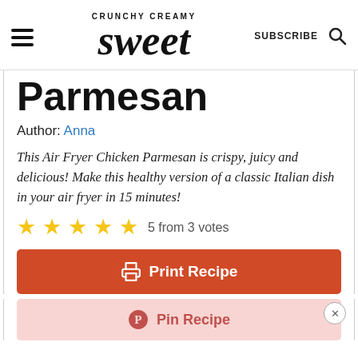CRUNCHY CREAMY Sweet | SUBSCRIBE
Parmesan
Author: Anna
This Air Fryer Chicken Parmesan is crispy, juicy and delicious! Make this healthy version of a classic Italian dish in your air fryer in 15 minutes!
5 from 3 votes
Print Recipe
Pin Recipe